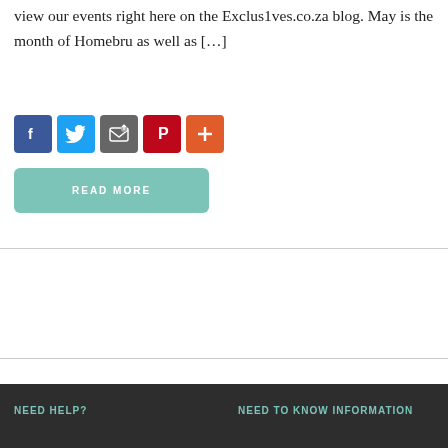view our events right here on the Exclus1ves.co.za blog. May is the month of Homebru as well as […]
[Figure (infographic): Row of social sharing icons: Facebook (blue), Twitter (light blue), Email/share (gray), Pinterest (red), More (orange)]
READ MORE
NEED HELP?   NEED TO KNOW INFORMATION